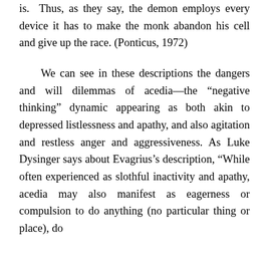is. Thus, as they say, the demon employs every device it has to make the monk abandon his cell and give up the race. (Ponticus, 1972)
We can see in these descriptions the dangers and will dilemmas of acedia—the “negative thinking” dynamic appearing as both akin to depressed listlessness and apathy, and also agitation and restless anger and aggressiveness. As Luke Dysinger says about Evagrius’s description, “While often experienced as slothful inactivity and apathy, acedia may also manifest as eagerness or compulsion to do anything (no particular thing or place), do